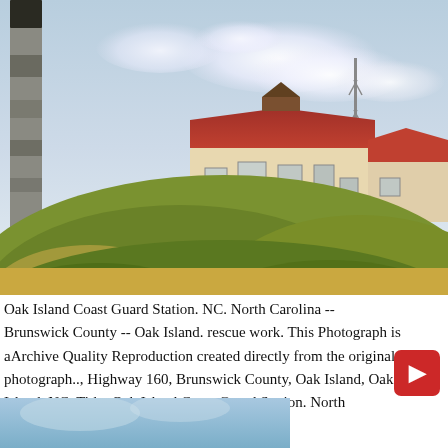[Figure (photo): Photograph of Oak Island Coast Guard Station in North Carolina. Shows a lighthouse tower on the left edge, a building with a red roof in the middle background, another white building to the right, a radio/communication tower, green vegetated sand dunes in the foreground, and a partly cloudy sky.]
Oak Island Coast Guard Station. NC. North Carolina -- Brunswick County -- Oak Island. rescue work. This Photograph is aArchive Quality Reproduction created directly from the original photograph.., Highway 160, Brunswick County, Oak Island, Oak Island, NC. Title: Oak Island Coast Guard Station. North Carolina, Brunswick County.
[Figure (photo): Partial view of a second photograph at the bottom of the page showing a light blue sky with water, partially cropped.]